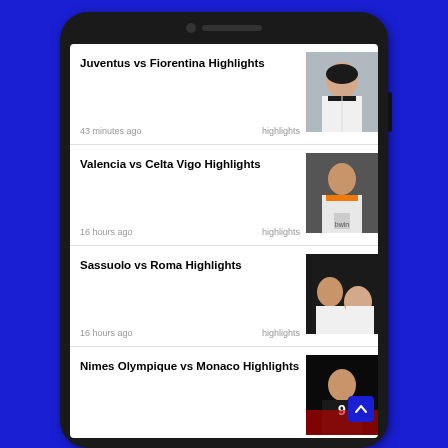[Figure (screenshot): Mobile phone screenshot showing a football/soccer highlights news feed app with multiple match highlight entries: Juventus vs Fiorentina Highlights, Valencia vs Celta Vigo Highlights, Sassuolo vs Roma Highlights, Nimes Olympique vs Monaco Highlights, Mallorca vs Real Valladolid Highlights, each with a thumbnail image, timestamp, and 'highlights' tag, displayed on an Android phone against a blue background.]